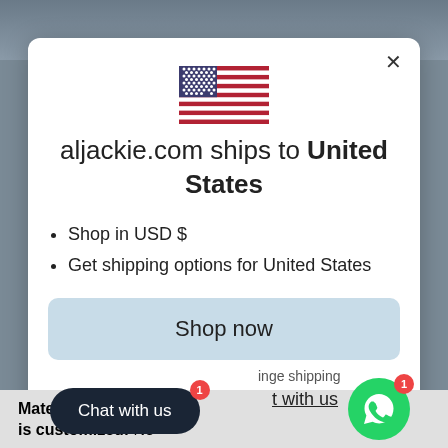[Figure (screenshot): E-commerce modal popup on aljackie.com showing a US flag, shipping destination message, list items about USD currency and shipping options, and a Shop now button. Below the modal are UI elements: Chat with us button and WhatsApp FAB.]
aljackie.com ships to United States
Shop in USD $
Get shipping options for United States
Shop now
Chat with us
Material: 100% Cotton
is customized: No